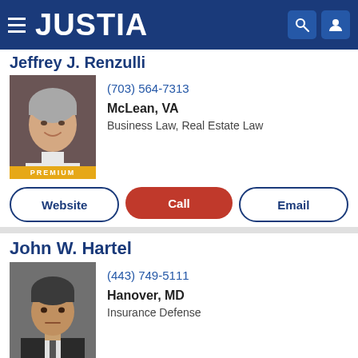JUSTIA
Jeffrey J. Renzulli
[Figure (photo): Headshot of attorney Jeffrey J. Renzulli, smiling man with short grey hair]
(703) 564-7313
McLean, VA
Business Law, Real Estate Law
PREMIUM
Website | Call | Email
John W. Hartel
[Figure (photo): Headshot of attorney John W. Hartel, serious-looking man in dark suit]
(443) 749-5111
Hanover, MD
Insurance Defense
PREMIUM
Website | Call | Email